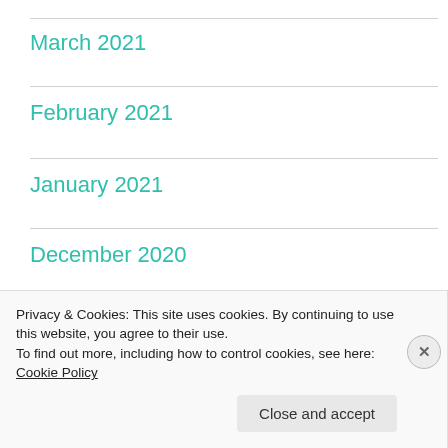March 2021
February 2021
January 2021
December 2020
October 2020
September 2020
Privacy & Cookies: This site uses cookies. By continuing to use this website, you agree to their use.
To find out more, including how to control cookies, see here: Cookie Policy
Close and accept